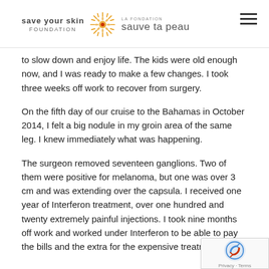save your skin FOUNDATION | LA FONDATION sauve ta peau
to slow down and enjoy life. The kids were old enough now, and I was ready to make a few changes. I took three weeks off work to recover from surgery.
On the fifth day of our cruise to the Bahamas in October 2014, I felt a big nodule in my groin area of the same leg. I knew immediately what was happening.
The surgeon removed seventeen ganglions. Two of them were positive for melanoma, but one was over 3 cm and was extending over the capsula. I received one year of Interferon treatment, over one hundred and twenty extremely painful injections. I took nine months off work and worked under Interferon to be able to pay the bills and the extra for the expensive treatment.